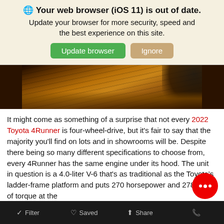🌐 Your web browser (iOS 11) is out of date. Update your browser for more security, speed and the best experience on this site.
[Figure (screenshot): Close-up photo of a vehicle tire on dusty terrain, warm orange/brown tones]
It might come as something of a surprise that not every 2022 Toyota 4Runner is four-wheel-drive, but it's fair to say that the majority you'll find on lots and in showrooms will be. Despite there being so many different specifications to choose from, every 4Runner has the same engine under its hood. The unit in question is a 4.0-liter V-6 that's as traditional as the Toyota's ladder-frame platform and puts 270 horsepower and 278 lb.-ft. of torque at the
Filter   Saved   Share   Call